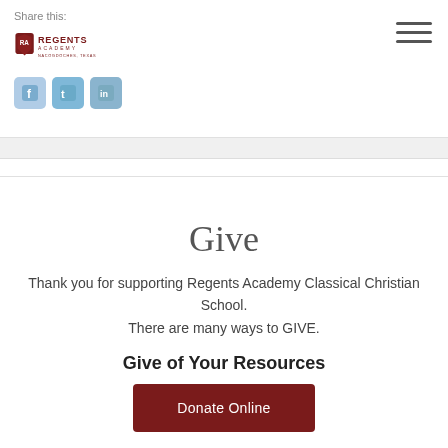Share this: [Regents Academy logo] [Facebook] [Twitter] [LinkedIn] [hamburger menu]
Give
Thank you for supporting Regents Academy Classical Christian School. There are many ways to GIVE.
Give of Your Resources
Donate Online
Volunteer
By volunteering, you can be involved in the life of the school, helping it as it serves families and adding your distinctive talents and personality to the